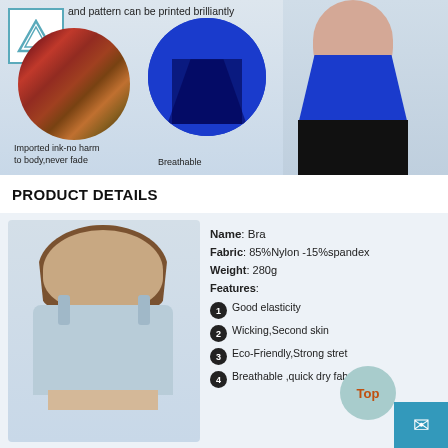[Figure (photo): Website banner showing advanced digital printing features: ink bottles circle, blue breathable sports bra back circle, female model wearing blue sports bra crop top and black leggings, with logo and navigation icons]
and pattern can be printed brilliantly
Imported ink-no harm to body,never fade
Breathable
PRODUCT DETAILS
[Figure (photo): Female model wearing a light blue sports bra, shown from shoulders up]
Name: Bra
Fabric: 85%Nylon -15%spandex
Weight: 280g
Features:
1 Good elasticity
2 Wicking,Second skin
3 Eco-Friendly,Strong stret
4 Breathable ,quick dry fabric